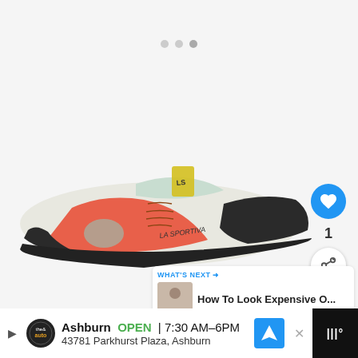[Figure (screenshot): Carousel pagination dots: three small grey circles centered near top of page]
[Figure (photo): La Sportiva climbing shoe in coral/mint/black colorway, lace-up style, viewed from the side]
[Figure (other): Blue circular heart/like button with white heart icon]
1
[Figure (other): White circular share button with share icon]
WHAT'S NEXT → How To Look Expensive O...
Ashburn OPEN | 7:30 AM–6PM 43781 Parkhurst Plaza, Ashburn